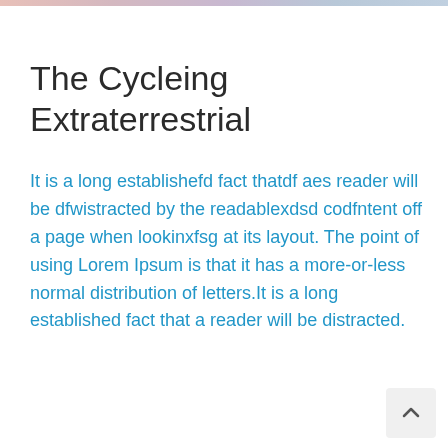[Figure (photo): Partial image strip at the very top of the page]
The Cycleing Extraterrestrial
It is a long establishefd fact thatdf aes reader will be dfwistracted by the readablexdsd codfntent off a page when lookinxfsg at its layout. The point of using Lorem Ipsum is that it has a more-or-less normal distribution of letters.It is a long established fact that a reader will be distracted.